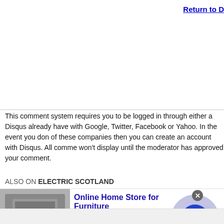Return to D
This comment system requires you to be logged in through either a Disqus already have with Google, Twitter, Facebook or Yahoo. In the event you don of these companies then you can create an account with Disqus. All comme won't display until the moderator has approved your comment.
ALSO ON ELECTRIC SCOTLAND
[Figure (screenshot): Advertisement for Wayfair Online Home Store for Furniture with product image on left, ad text in middle, and arrow button on right]